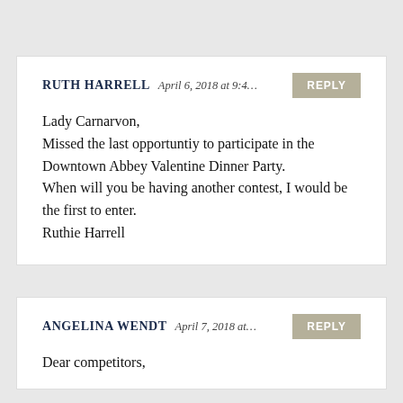RUTH HARRELL April 6, 2018 at 9:4… REPLY

Lady Carnarvon,
Missed the last opportuntiy to participate in the Downtown Abbey Valentine Dinner Party.
When will you be having another contest, I would be the first to enter.
Ruthie Harrell
ANGELINA WENDT April 7, 2018 at… REPLY

Dear competitors,